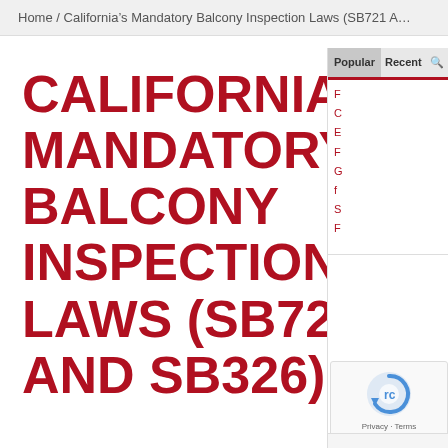Home / California’s Mandatory Balcony Inspection Laws (SB721 A…
CALIFORNIA’S MANDATORY BALCONY INSPECTION LAWS (SB721 AND SB326)
Popular Recent 🔍
F C E F G f S F
[Figure (other): reCAPTCHA widget with circular arrow icon and Privacy/Terms text]